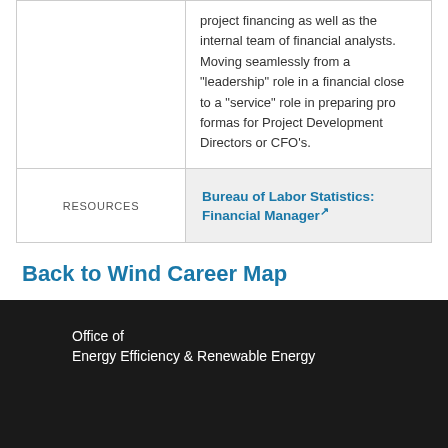|  | project financing as well as the internal team of financial analysts. Moving seamlessly from a "leadership" role in a financial close to a "service" role in preparing pro formas for Project Development Directors or CFO's. |
| RESOURCES | Bureau of Labor Statistics: Financial Manager |
Back to Wind Career Map
Office of
Energy Efficiency & Renewable Energy